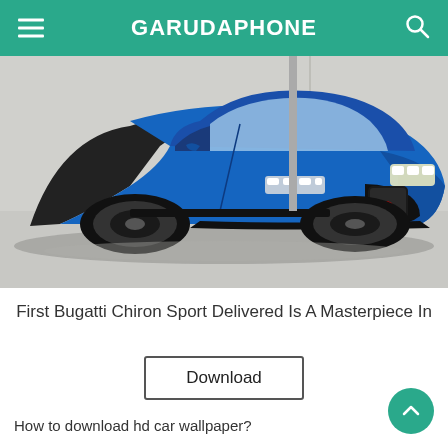GARUDAPHONE
[Figure (photo): A blue and black Bugatti Chiron Sport supercar photographed in a showroom or indoor setting with a light grey floor. The car is facing slightly left, showing its distinctive front grille, LED headlights, and carbon fiber details.]
First Bugatti Chiron Sport Delivered Is A Masterpiece In
Download
How to download hd car wallpaper?